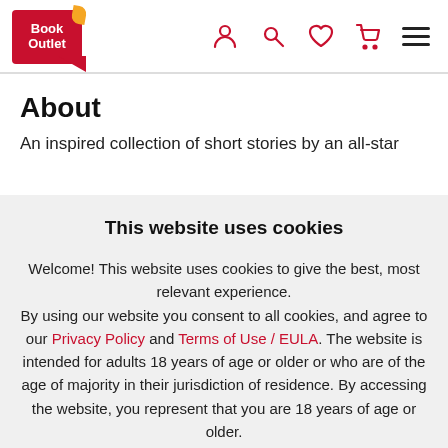[Figure (logo): Book Outlet logo - red background with white text and yellow leaf accent]
About
An inspired collection of short stories by an all-star
This website uses cookies
Welcome! This website uses cookies to give the best, most relevant experience. By using our website you consent to all cookies, and agree to our Privacy Policy and Terms of Use / EULA. The website is intended for adults 18 years of age or older or who are of the age of majority in their jurisdiction of residence. By accessing the website, you represent that you are 18 years of age or older.
I Agree